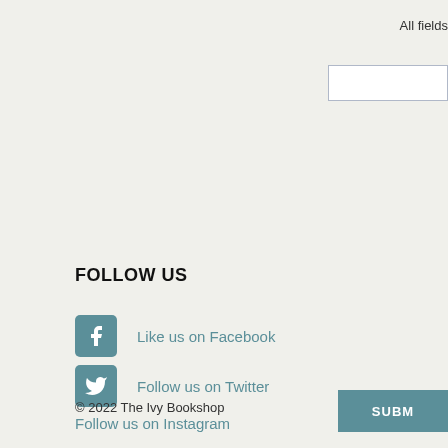All fields
FOLLOW US
Like us on Facebook
Follow us on Twitter
Follow us on Instagram
© 2022 The Ivy Bookshop